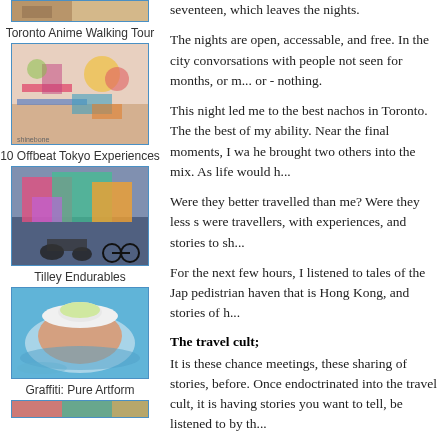[Figure (photo): Top of a photo partially visible at top of left column]
Toronto Anime Walking Tour
[Figure (photo): Photo of anime merchandise, colorful items including pencils and toys on a patterned surface]
10 Offbeat Tokyo Experiences
[Figure (photo): Colorful graffiti mural on a wall with a motorcycle and bicycle in front]
Tilley Endurables
[Figure (photo): Person floating in a pool wearing a large white sun hat, viewed from above]
Graffiti: Pure Artform
[Figure (photo): Bottom partial image visible at bottom of left column]
seventeen, which leaves the nights.
The nights are open, accessable, and free. In the city convorsations with people not seen for months, or n... or - nothing.
This night led me to the best nachos in Toronto. The the best of my ability. Near the final moments, I wa he brought two others into the mix. As life would h...
Were they better travelled than me? Were they less s were travellers, with experiences, and stories to sh...
For the next few hours, I listened to tales of the Jap pedistrian haven that is Hong Kong, and stories of h...
The travel cult;
It is these chance meetings, these sharing of stories, before. Once endoctrinated into the travel cult, it is having stories you want to tell, be listened to by th...